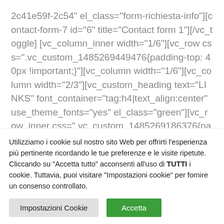2c41e59f-2c54" el_class="form-richiesta-info"][contact-form-7 id="6" title="Contact form 1"][/vc_toggle] [vc_column_inner width="1/6"][vc_row css=".vc_custom_1485269449476{padding-top: 40px !important;}"][vc_column width="1/6"][vc_column width="2/3"][vc_custom_heading text="LINKS" font_container="tag:h4|text_align:center" use_theme_fonts="yes" el_class="green"][vc_row_inner css=".vc_custom_1485269186376{padding-bottom: 0px !important;}"][vc_column_inner el_class="box-servizio"
Utilizziamo i cookie sul nostro sito Web per offrirti l'esperienza più pertinente ricordando le tue preferenze e le visite ripetute. Cliccando su "Accetta tutto" acconsenti all'uso di TUTTI i cookie. Tuttavia, puoi visitare "Impostazioni cookie" per fornire un consenso controllato.
Impostazioni Cookie | Accetta